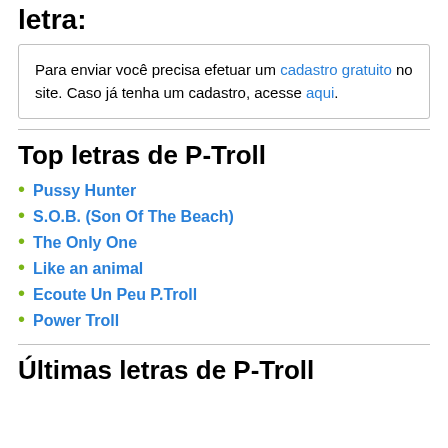letra:
Para enviar você precisa efetuar um cadastro gratuito no site. Caso já tenha um cadastro, acesse aqui.
Top letras de P-Troll
Pussy Hunter
S.O.B. (Son Of The Beach)
The Only One
Like an animal
Ecoute Un Peu P.Troll
Power Troll
Últimas letras de P-Troll